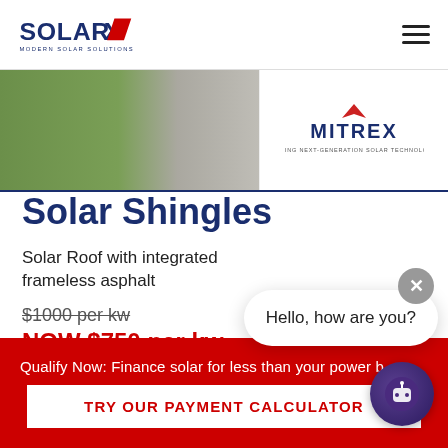[Figure (logo): SolarX Modern Solar Solutions logo with blue text and red X]
[Figure (photo): Banner photo showing sidewalk and grass on the left, and Mitrex logo panel on the right with text 'MAKING NEXT-GENERATION SOLAR TECHNOLOGY']
Solar Shingles
Solar Roof with integrated frameless asphalt
$1000 per kw
NOW $750 per kw
Hello, how are you?
Qualify Now: Finance solar for less than your power b
TRY OUR PAYMENT CALCULATOR